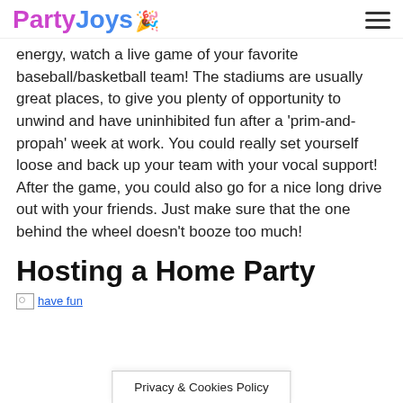PartyJoys
energy, watch a live game of your favorite baseball/basketball team! The stadiums are usually great places, to give you plenty of opportunity to unwind and have uninhibited fun after a 'prim-and-propah' week at work. You could really set yourself loose and back up your team with your vocal support! After the game, you could also go for a nice long drive out with your friends. Just make sure that the one behind the wheel doesn't booze too much!
Hosting a Home Party
[Figure (photo): Broken image placeholder with alt text 'have fun']
Privacy & Cookies Policy